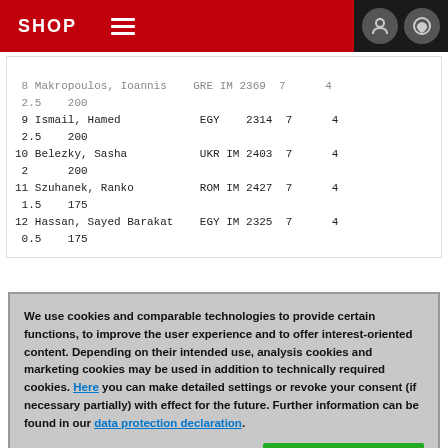SHOP
| 8 | Makropoulos, Ioannis | GRE IM | 2369 | 7 | 4 | 2.5 | 200 |
| 9 | Ismail, Hamed | EGY | 2314 | 7 | 4 | 2.5 | 200 |
| 10 | Belezky, Sasha | UKR IM | 2403 | 7 | 4 | 2 | 200 |
| 11 | Szuhanek, Ranko | ROM IM | 2427 | 7 | 4 | 1.5 | 175 |
| 12 | Hassan, Sayed Barakat | EGY IM | 2325 | 7 | 4 | 0.5 | 175 |
Here are all 279 games of the Golden Cleopatra Open 2003 in
We use cookies and comparable technologies to provide certain functions, to improve the user experience and to offer interest-oriented content. Depending on their intended use, analysis cookies and marketing cookies may be used in addition to technically required cookies. Here you can make detailed settings or revoke your consent (if necessary partially) with effect for the future. Further information can be found in our data protection declaration.